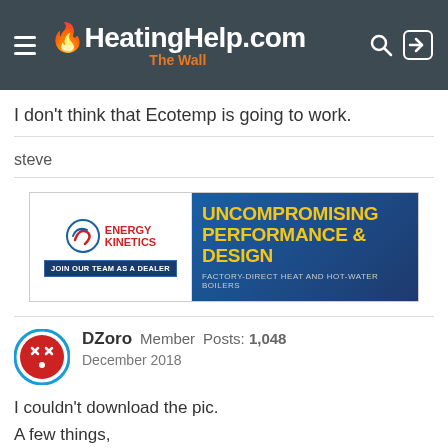HeatingHelp.com The Wall
I don't think that Ecotemp is going to work.
steve
[Figure (screenshot): Energy Kinetics advertisement banner: 'JOIN OUR TEAM AS A DEALER' on left, 'UNCOMPROMISING PERFORMANCE & DESIGN – FACTORY-DIRECT HEAT AND HOT-WATER BOILERS' on right]
DZoro  Member  Posts: 1,048
December 2018
I couldn't download the pic.
A few things,
1-That's a water heater (very high head, wrong